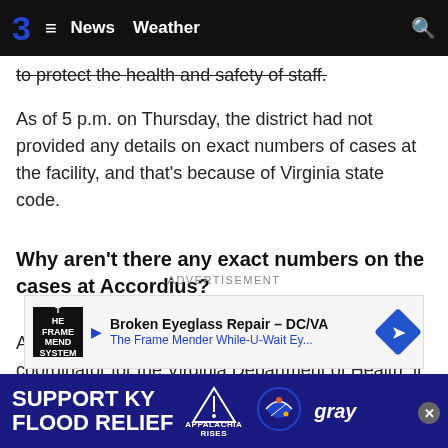3  ≡  News  Weather  🔍
to protect the health and safety of staff.
As of 5 p.m. on Thursday, the district had not provided any details on exact numbers of cases at the facility, and that's because of Virginia state code.
Why aren't there any exact numbers on the cases at Accordius?
According to Tammie Smith, the public relations coordinator for the Virginia Department of Health, it comes down to Accordius Health itself.
ADVERTISEMENT
[Figure (other): Advertisement banner: Broken Eyeglass Repair - DC/VA, The Frame Mender While-U-Wait Ey...]
[Figure (other): Bottom banner ad: SUPPORT KY FLOOD RELIEF, Appalachia Rises, Gray television logo]